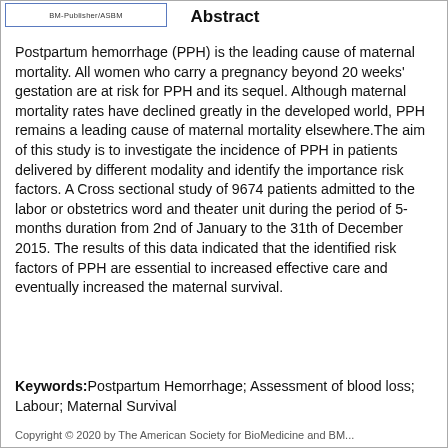BM-Publisher/ASBM
Abstract
Postpartum hemorrhage (PPH) is the leading cause of maternal mortality. All women who carry a pregnancy beyond 20 weeks' gestation are at risk for PPH and its sequel. Although maternal mortality rates have declined greatly in the developed world, PPH remains a leading cause of maternal mortality elsewhere.The aim of this study is to investigate the incidence of PPH in patients delivered by different modality and identify the importance risk factors. A Cross sectional study of 9674 patients admitted to the labor or obstetrics word and theater unit during the period of 5-months duration from 2nd of January to the 31th of December 2015. The results of this data indicated that the identified risk factors of PPH are essential to increased effective care and eventually increased the maternal survival.
Keywords: Postpartum Hemorrhage; Assessment of blood loss; Labour; Maternal Survival
Copyright © 2020 by The American Society for BioMedicine and BM...